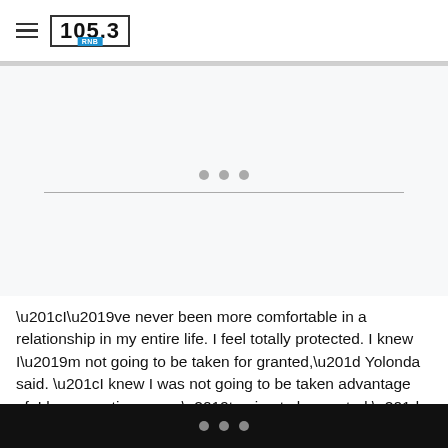105.3 RNB
[Figure (other): Loading spinner area with three gray dots and a horizontal dividing line on a light gray background]
“I’ve never been more comfortable in a relationship in my entire life. I feel totally protected. I knew I’m not going to be taken for granted,” Yolonda said. “I knew I was not going to be taken advantage of. I knew my time wasn’t going to be wasted.”